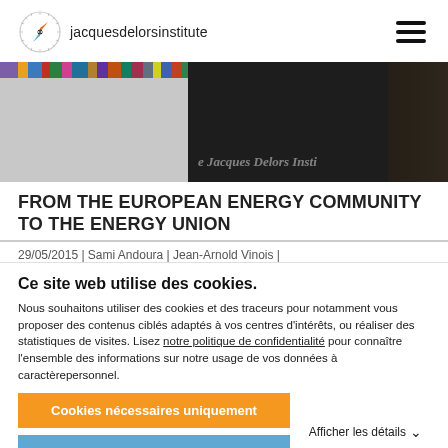jacquesdelorsinstitute
[Figure (photo): Split hero image: left side shows colorful book spines strip above a grey area; right side shows a person in dark clothing in front of bookshelves with white text overlay reading 'e Jacques Delors Insti']
FROM THE EUROPEAN ENERGY COMMUNITY TO THE ENERGY UNION
29/05/2015 | Sami Andoura | Jean-Arnold Vinois |
Ce site web utilise des cookies.
Nous souhaitons utiliser des cookies et des traceurs pour notamment vous proposer des contenus ciblés adaptés à vos centres d'intérêts, ou réaliser des statistiques de visites. Lisez notre politique de confidentialité pour connaître l'ensemble des informations sur notre usage de vos données à caractèrepersonnel.
Cookies nécessaires uniquement
Autoriser tous les cookies
Afficher les détails